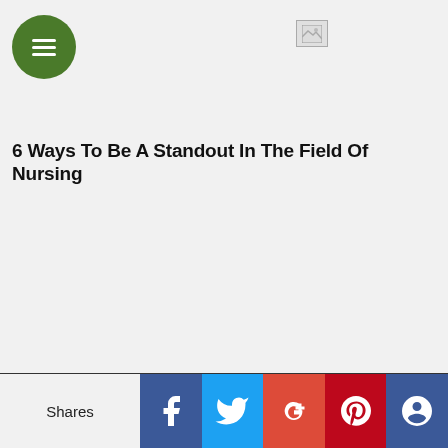[Figure (logo): Green circular hamburger menu button icon in the top left corner]
[Figure (logo): Broken/placeholder image icon in the top center area]
6 Ways To Be A Standout In The Field Of Nursing
Shares | Facebook | Twitter | Google+ | Pinterest | Other